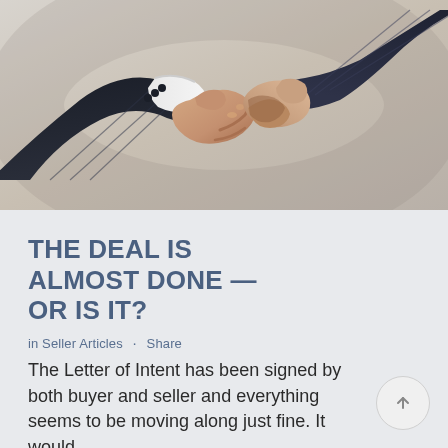[Figure (photo): Two people in dark pinstripe suits shaking hands against a light gray background, photographed close up showing forearms and clasped hands.]
THE DEAL IS ALMOST DONE — OR IS IT?
in Seller Articles · Share
The Letter of Intent has been signed by both buyer and seller and everything seems to be moving along just fine. It would